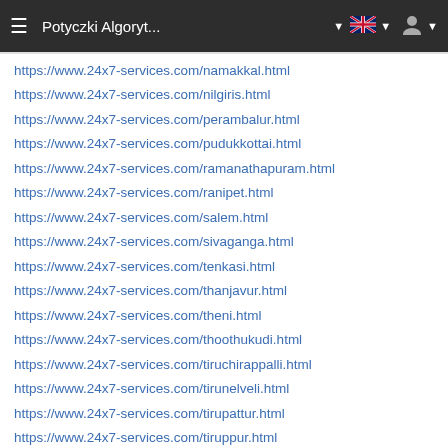Potyczki Algoryt...
https://www.24x7-services.com/namakkal.html
https://www.24x7-services.com/nilgiris.html
https://www.24x7-services.com/perambalur.html
https://www.24x7-services.com/pudukkottai.html
https://www.24x7-services.com/ramanathapuram.html
https://www.24x7-services.com/ranipet.html
https://www.24x7-services.com/salem.html
https://www.24x7-services.com/sivaganga.html
https://www.24x7-services.com/tenkasi.html
https://www.24x7-services.com/thanjavur.html
https://www.24x7-services.com/theni.html
https://www.24x7-services.com/thoothukudi.html
https://www.24x7-services.com/tiruchirappalli.html
https://www.24x7-services.com/tirunelveli.html
https://www.24x7-services.com/tirupattur.html
https://www.24x7-services.com/tiruppur.html
https://www.24x7-services.com/tiruvallur.html
https://www.24x7-services.com/tiruvannamalai.html
https://www.24x7-services.com/tiruvarur.html
https://www.24x7-services.com/vellore.html